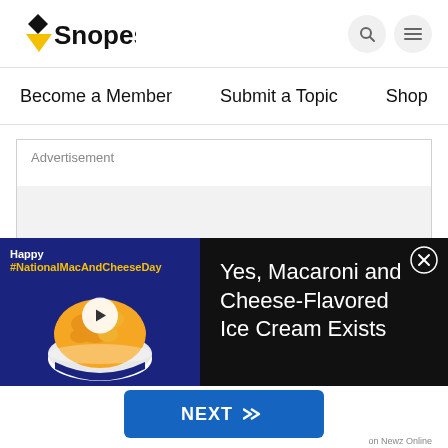[Figure (logo): Snopes logo with black diamond and yellow triangle]
Become a Member  Submit a Topic  Shop  La
Advertisement
[Figure (screenshot): Bottom banner ad: Happy #NationalMacAndCheeseDay with mac and cheese bowl image and play button on blue background; text 'Yes, Macaroni and Cheese-Flavored Ice Cream Exists' on black background; close button]
NEXT >>
on Newz Online